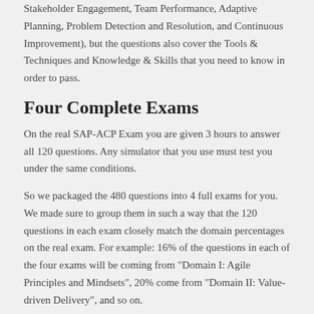Stakeholder Engagement, Team Performance, Adaptive Planning, Problem Detection and Resolution, and Continuous Improvement), but the questions also cover the Tools & Techniques and Knowledge & Skills that you need to know in order to pass.
Four Complete Exams
On the real SAP-ACP Exam you are given 3 hours to answer all 120 questions. Any simulator that you use must test you under the same conditions.
So we packaged the 480 questions into 4 full exams for you. We made sure to group them in such a way that the 120 questions in each exam closely match the domain percentages on the real exam. For example: 16% of the questions in each of the four exams will be coming from "Domain I: Agile Principles and Mindsets", 20% come from "Domain II: Value-driven Delivery", and so on.
Questions Developed by Agile Team